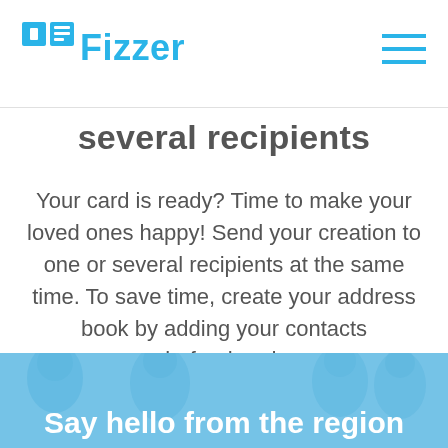Fizzer
several recipients
Your card is ready? Time to make your loved ones happy! Send your creation to one or several recipients at the same time. To save time, create your address book by adding your contacts beforehand.
[Figure (photo): Blue-tinted photo of people in background]
Say hello from the region